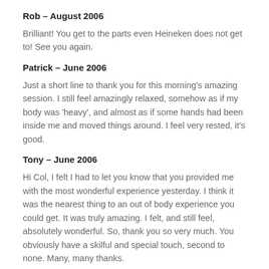Rob – August 2006
Brilliant! You get to the parts even Heineken does not get to! See you again.
Patrick – June 2006
Just a short line to thank you for this morning's amazing session. I still feel amazingly relaxed, somehow as if my body was 'heavy', and almost as if some hands had been inside me and moved things around. I feel very rested, it's good.
Tony – June 2006
Hi Col, I felt I had to let you know that you provided me with the most wonderful experience yesterday. I think it was the nearest thing to an out of body experience you could get. It was truly amazing. I felt, and still feel, absolutely wonderful. So, thank you so very much. You obviously have a skilful and special touch, second to none. Many, many thanks.